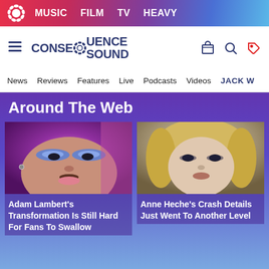MUSIC  FILM  TV  HEAVY
[Figure (logo): Consequence Sound site logo with hamburger menu, cog icon, search, and tag icon]
News  Reviews  Features  Live  Podcasts  Videos  JACK W...
Around The Web
[Figure (photo): Close-up photo of Adam Lambert with glitter eyeshadow and makeup]
Adam Lambert's Transformation Is Still Hard For Fans To Swallow
[Figure (photo): Close-up photo of Anne Heche with blonde hair]
Anne Heche's Crash Details Just Went To Another Level
[Figure (infographic): Advertisement: Quicken - Take Control of Your Finances with BUY NOW button and close X]
[Figure (infographic): Advertisement: The perfect gift - food product with navigation arrows and 35% + Free Shipping discount badge]